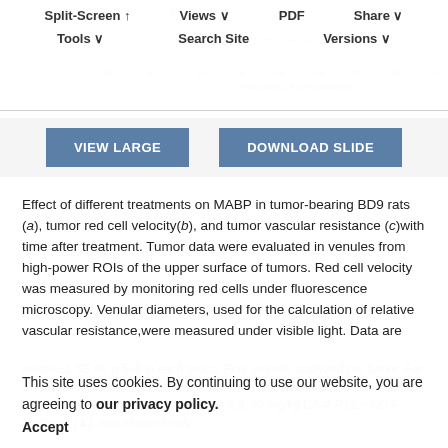Split-Screen | Views | PDF | Share | Tools | Search Site | Versions
[Figure (screenshot): Partial view of a scientific chart showing axes with label 'Time after CA-4-P (minutes)' visible, with axis values -10, 0, 10, 20, 30, 40, 50, 60, 70 and vertical axis showing value 10]
VIEW LARGE   DOWNLOAD SLIDE
Effect of different treatments on MABP in tumor-bearing BD9 rats (a), tumor red cell velocity(b), and tumor vascular resistance (c)with time after treatment. Tumor data were evaluated in venules from high-power ROIs of the upper surface of tumors. Red cell velocity was measured by monitoring red cells under fluorescence microscopy. Venular diameters, used for the calculation of relative vascular resistance,were measured under visible light. Data are means±1 SE for n 5–9 in each group. Four vessels analyzed per tumor. For clarity, errors are omitted for listed groups in c. Treatments were 30 mg/kg CA-4-P alone (•), NOS inhibition alone (□), 30 mg/kg CA-4-P plus NOS inhibition (▲), and vehicles only
This site uses cookies. By continuing to use our website, you are agreeing to our privacy policy. Accept